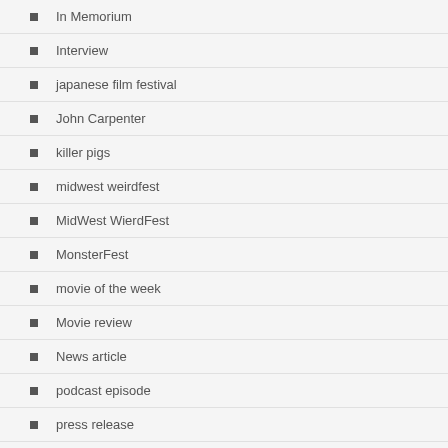In Memorium
Interview
japanese film festival
John Carpenter
killer pigs
midwest weirdfest
MidWest WierdFest
MonsterFest
movie of the week
Movie review
News article
podcast episode
press release
retrospective
Rights Distribution